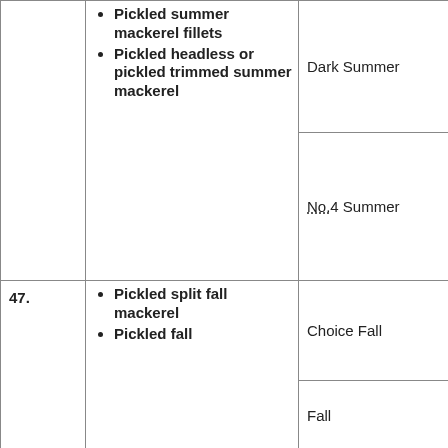| No. | Product | Grade |
| --- | --- | --- |
|  | Pickled summer mackerel fillets; Pickled headless or pickled trimmed summer mackerel | Dark Summer; No. 4 Summer |
| 47. | Pickled split fall mackerel; Pickled fall... | Choice Fall; Fall |